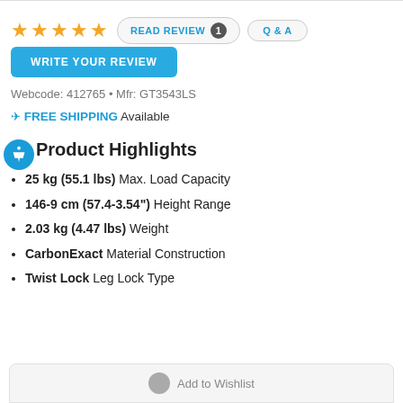★★★★★  READ REVIEW 1  Q & A
WRITE YOUR REVIEW
Webcode: 412765 • Mfr: GT3543LS
✈ FREE SHIPPING Available
Product Highlights
25 kg (55.1 lbs) Max. Load Capacity
146-9 cm (57.4-3.54") Height Range
2.03 kg (4.47 lbs) Weight
CarbonExact Material Construction
Twist Lock Leg Lock Type